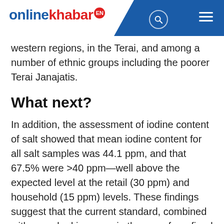onlinekhabar EN
western regions, in the Terai, and among a number of ethnic groups including the poorer Terai Janajatis.
What next?
In addition, the assessment of iodine content of salt showed that mean iodine content for all salt samples was 44.1 ppm, and that 67.5% were >40 ppm—well above the expected level at the retail (30 ppm) and household (15 ppm) levels. These findings suggest that the current standard, combined with a marked increase in the use of a refined packaged product may